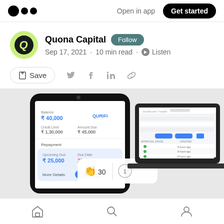Open in app  Get started
Quona Capital  Follow
Sep 17, 2021 · 10 min read · Listen
Save
[Figure (screenshot): Screenshot of a mobile banking app (Qurifi) showing Balance ₹40,000, Credit Limit ₹1,30,000, Amount Due ₹45,000, Repayment section with Upcoming Due ₹25,000, Due Date 28/02/21, More Details and Pay Now buttons; alongside a laptop screenshot showing a dashboard interface with clap and comment counts (30 claps, 1 comment)]
Home  Search  Profile